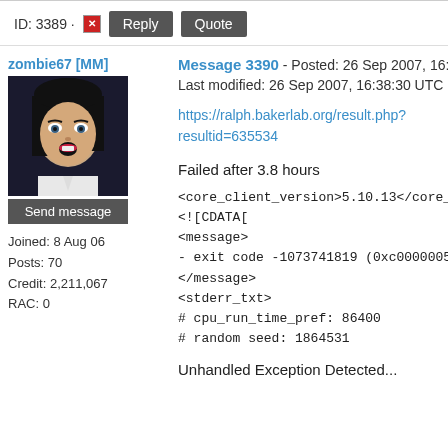ID: 3389 · [x] Reply Quote
zombie67 [MM]
[Figure (illustration): Avatar image of an animated female character with dark hair and dramatic makeup on dark background]
Send message
Joined: 8 Aug 06
Posts: 70
Credit: 2,211,067
RAC: 0
Message 3390 - Posted: 26 Sep 2007, 16:36:44 UTC
Last modified: 26 Sep 2007, 16:38:30 UTC
https://ralph.bakerlab.org/result.php?resultid=635534
Failed after 3.8 hours
<core_client_version>5.10.13</core_client_vers
<![CDATA[
<message>
- exit code -1073741819 (0xc0000005)
</message>
<stderr_txt>
# cpu_run_time_pref: 86400
# random seed: 1864531
Unhandled Exception Detected...